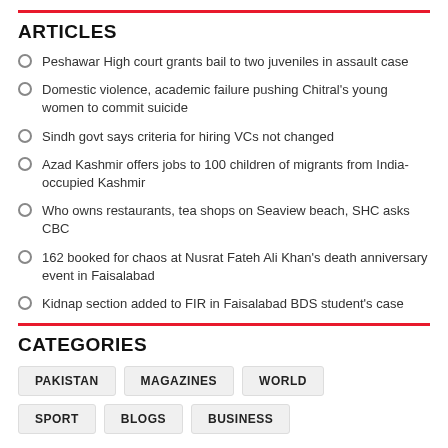ARTICLES
Peshawar High court grants bail to two juveniles in assault case
Domestic violence, academic failure pushing Chitral's young women to commit suicide
Sindh govt says criteria for hiring VCs not changed
Azad Kashmir offers jobs to 100 children of migrants from India-occupied Kashmir
Who owns restaurants, tea shops on Seaview beach, SHC asks CBC
162 booked for chaos at Nusrat Fateh Ali Khan's death anniversary event in Faisalabad
Kidnap section added to FIR in Faisalabad BDS student's case
CATEGORIES
PAKISTAN
MAGAZINES
WORLD
SPORT
BLOGS
BUSINESS